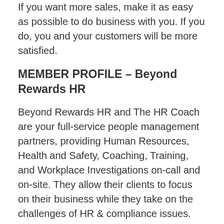If you want more sales, make it as easy as possible to do business with you. If you do, you and your customers will be more satisfied.
MEMBER PROFILE – Beyond Rewards HR
Beyond Rewards HR and The HR Coach are your full-service people management partners, providing Human Resources, Health and Safety, Coaching, Training, and Workplace Investigations on-call and on-site. They allow their clients to focus on their business while they take on the challenges of HR & compliance issues.
Beyond Rewards HR connects your business to the resources you need.
The Beyond Rewards team will help you reach compliance by working with you to get everything you